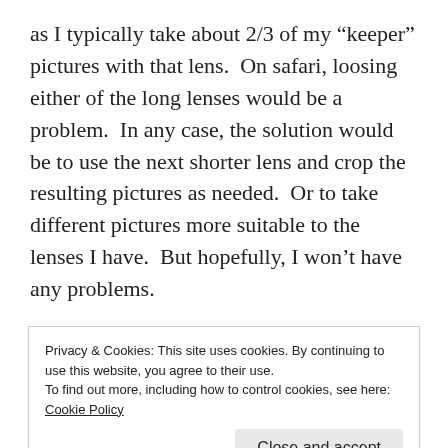as I typically take about 2/3 of my “keeper” pictures with that lens.  On safari, loosing either of the long lenses would be a problem.  In any case, the solution would be to use the next shorter lens and crop the resulting pictures as needed.  Or to take different pictures more suitable to the lenses I have.  But hopefully, I won’t have any problems.
The camera backup is simpler: I’m taking two similar cameras, an Olympus OM-D E-M1 and an OM-D E-M1 Mark 2 (3).  Assuming both are working, I’ll use them both with different magnification lenses on each one.
Privacy & Cookies: This site uses cookies. By continuing to use this website, you agree to their use.
To find out more, including how to control cookies, see here: Cookie Policy
Close and accept
But if one fails, I'll have the other.